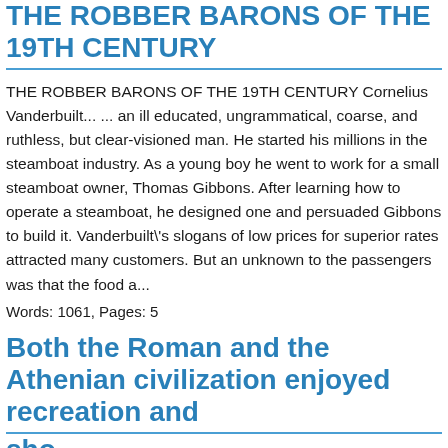THE ROBBER BARONS OF THE 19TH CENTURY
THE ROBBER BARONS OF THE 19TH CENTURY Cornelius Vanderbuilt... ... an ill educated, ungrammatical, coarse, and ruthless, but clear-visioned man. He started his millions in the steamboat industry. As a young boy he went to work for a small steamboat owner, Thomas Gibbons. After learning how to operate a steamboat, he designed one and persuaded Gibbons to build it. Vanderbuilt\'s slogans of low prices for superior rates attracted many customers. But an unknown to the passengers was that the food a...
Words: 1061, Pages: 5
Both the Roman and the Athenian civilization enjoyed recreation and
sho...